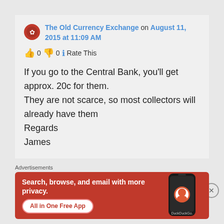The Old Currency Exchange on August 11, 2015 at 11:09 AM
👍 0 👎 0 ℹ Rate This
If you go to the Central Bank, you'll get approx. 20c for them.
They are not scarce, so most collectors will already have them
Regards
James
Advertisements
[Figure (infographic): DuckDuckGo advertisement banner with orange background. Text: Search, browse, and email with more privacy. All in One Free App. Shows phone with DuckDuckGo logo.]